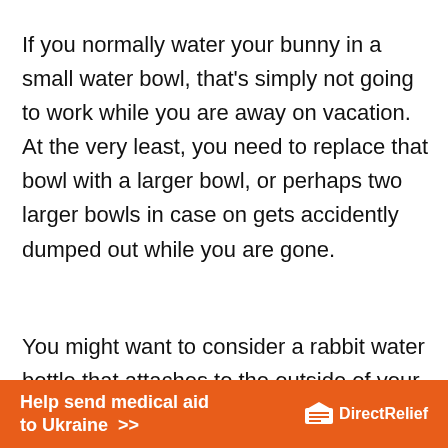If you normally water your bunny in a small water bowl, that's simply not going to work while you are away on vacation. At the very least, you need to replace that bowl with a larger bowl, or perhaps two larger bowls in case on gets accidently dumped out while you are gone.
You might want to consider a rabbit water bottle that attaches to the outside of your
[Figure (infographic): Orange advertisement banner for Direct Relief: 'Help send medical aid to Ukraine >>' with Direct Relief logo on the right]